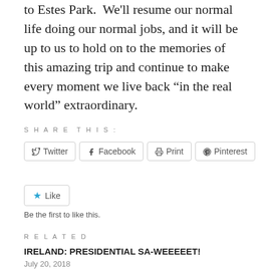to Estes Park.  We'll resume our normal life doing our normal jobs, and it will be up to us to hold on to the memories of this amazing trip and continue to make every moment we live back “in the real world” extraordinary.
SHARE THIS:
Twitter  Facebook  Print  Pinterest
Like
Be the first to like this.
RELATED
IRELAND: PRESIDENTIAL SA-WEEEEET!
July 20, 2018
In “Ireland”